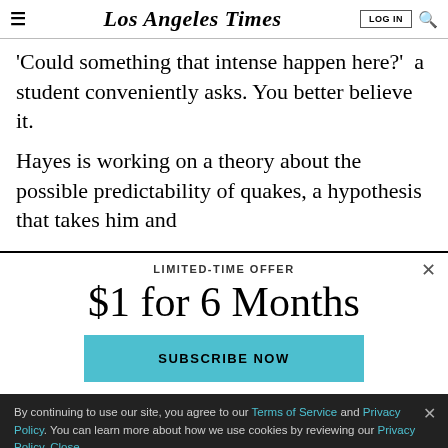Los Angeles Times
'Could something that intense happen here?' a student conveniently asks. You better believe it.
Hayes is working on a theory about the possible predictability of quakes, a hypothesis that takes him and
LIMITED-TIME OFFER
$1 for 6 Months
SUBSCRIBE NOW
By continuing to use our site, you agree to our Terms of Service and Privacy Policy. You can learn more about how we use cookies by reviewing our Privacy Policy. Close